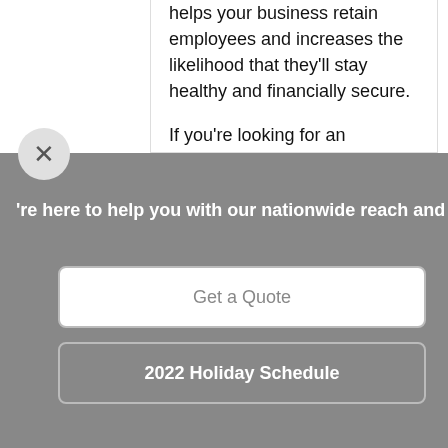helps your business retain employees and increases the likelihood that they'll stay healthy and financially secure.
If you're looking for an alternative to offering full medical benefits to your employees, then group voluntary benefits could be the answer. We can help you get started!
're here to help you with our nationwide reach and pe
Get a Quote
2022 Holiday Schedule